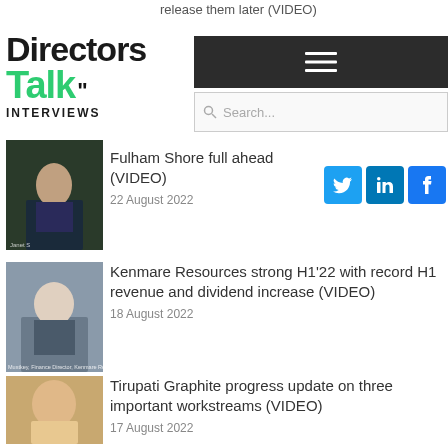Directors Talk Interviews
release them later (VIDEO)
[Figure (screenshot): Navigation hamburger menu on dark background]
[Figure (screenshot): Search bar with placeholder text 'Search...']
[Figure (screenshot): Social media share buttons for Twitter, LinkedIn, and Facebook]
[Figure (photo): Thumbnail image for Fulham Shore article showing a person in a suit]
Fulham Shore full ahead (VIDEO)
22 August 2022
[Figure (photo): Thumbnail image for Kenmare Resources article showing a man in a suit]
Kenmare Resources strong H1'22 with record H1 revenue and dividend increase (VIDEO)
18 August 2022
[Figure (photo): Thumbnail image for Tirupati Graphite article showing a man]
Tirupati Graphite progress update on three important workstreams (VIDEO)
17 August 2022
View all interviews
Company Presentations